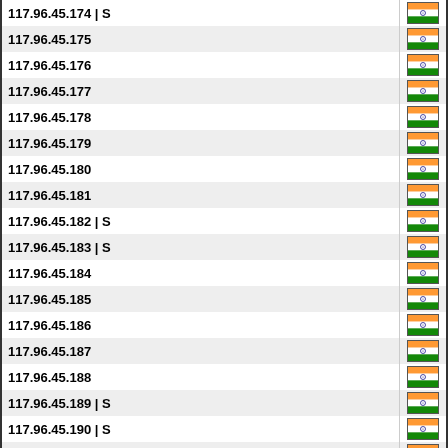| IP Address | Country |
| --- | --- |
| 117.96.45.174 | S | IN |
| 117.96.45.175 | IN |
| 117.96.45.176 | IN |
| 117.96.45.177 | IN |
| 117.96.45.178 | IN |
| 117.96.45.179 | IN |
| 117.96.45.180 | IN |
| 117.96.45.181 | IN |
| 117.96.45.182 | S | IN |
| 117.96.45.183 | S | IN |
| 117.96.45.184 | IN |
| 117.96.45.185 | IN |
| 117.96.45.186 | IN |
| 117.96.45.187 | IN |
| 117.96.45.188 | IN |
| 117.96.45.189 | S | IN |
| 117.96.45.190 | S | IN |
| 117.96.45.191 | S | IN |
| 117.96.45.192 | IN |
| 117.96.45.193 | IN |
| 117.96.45.194 | S | IN |
| 117.96.45.195 | S | IN |
| 117.96.45.196 | S | IN |
| 117.96.45.197 | IN |